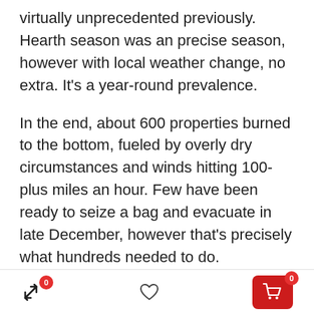virtually unprecedented previously. Hearth season was an precise season, however with local weather change, no extra. It's a year-round prevalence.
In the end, about 600 properties burned to the bottom, fueled by overly dry circumstances and winds hitting 100-plus miles an hour. Few have been ready to seize a bag and evacuate in late December, however that's precisely what hundreds needed to do.
The identical held true a number of weeks earlier in Kentucky, when an enormous twister ripped via a 200-mile swath of cities and communities. This got
navigation bar with shuffle icon (badge 0), heart icon, and cart icon (badge 0)